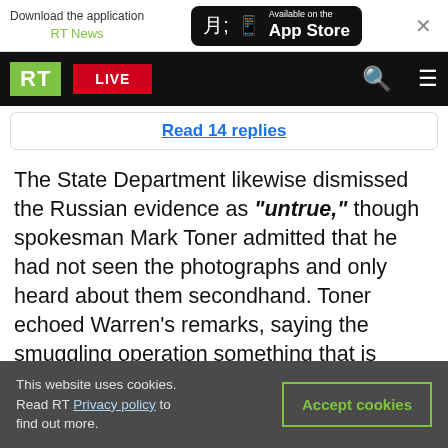Download the application RT News — Available on the App Store
RT LIVE
Read 14 replies
The State Department likewise dismissed the Russian evidence as "untrue," though spokesman Mark Toner admitted that he had not seen the photographs and only heard about them secondhand. Toner echoed Warren's remarks, saying the smuggling operation something that is "decades old." He ventured that IS does not profit from the illegal trade directly, but only through extorting toll fees from the smugglers.
This website uses cookies. Read RT Privacy policy to find out more. Accept cookies